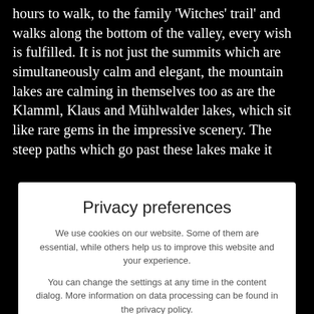hours to walk, to the family 'Witches' trail' and walks along the bottom of the valley, every wish is fulfilled. It is not just the summits which are simultaneously calm and elegant, the mountain lakes are calming in themselves too as are the Klamml, Klaus and Mühlwalder lakes, which sit like rare gems in the impressive scenery. The steep paths which go past these lakes make it
rzenstein, nding op.
norama, eikboden utumn, al alpine onal e that
Privacy preferences
We use cookies on our website. Some of them are essential, while others help us to improve this website and your experience.
You can change the settings at any time in the content dialog. More information on data processing can be found in the privacy policy.
Accept everything 🡢
Only essential cookies
Individual cookie settings
Privacy policy | Legal Notice